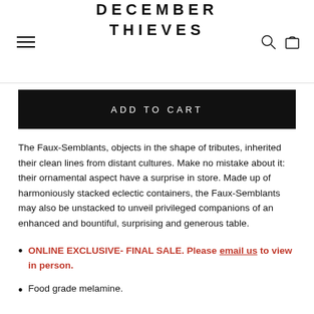DECEMBER THIEVES
ADD TO CART
The Faux-Semblants, objects in the shape of tributes, inherited their clean lines from distant cultures. Make no mistake about it: their ornamental aspect have a surprise in store. Made up of harmoniously stacked eclectic containers, the Faux-Semblants may also be unstacked to unveil privileged companions of an enhanced and bountiful, surprising and generous table.
ONLINE EXCLUSIVE- FINAL SALE. Please email us to view in person.
Food grade melamine.
Height when stacked: 10" Nests to 7" tall for cupboard storage